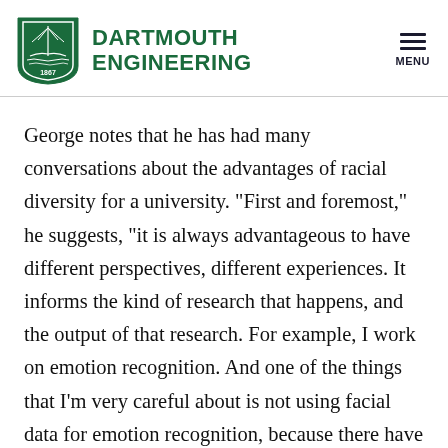DARTMOUTH ENGINEERING
George notes that he has had many conversations about the advantages of racial diversity for a university. "First and foremost," he suggests, "it is always advantageous to have different perspectives, different experiences. It informs the kind of research that happens, and the output of that research. For example, I work on emotion recognition. And one of the things that I'm very careful about is not using facial data for emotion recognition, because there have been many studies in which machine-learning